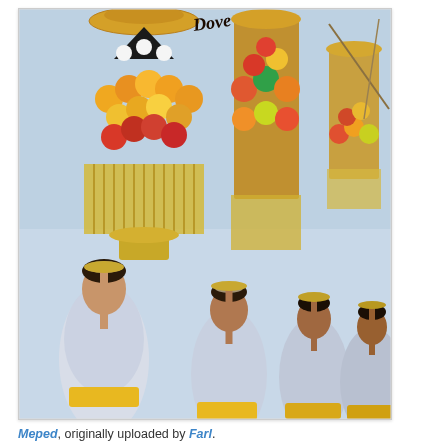[Figure (photo): A procession of Balinese women dressed in white and blue traditional kebaya outfits with yellow sashes, balancing tall elaborate offerings (gebogan) stacked with colorful fruits, flowers, and decorative palm fronds on their heads, walking in a line against a light blue sky background.]
Meped, originally uploaded by Farl.